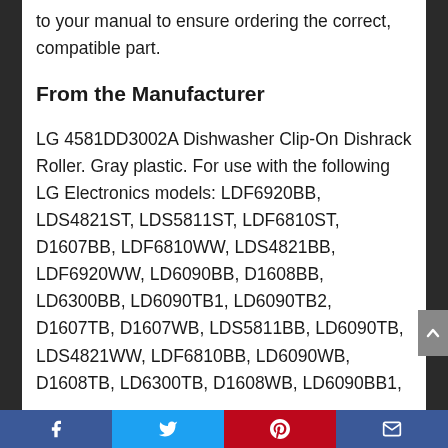to your manual to ensure ordering the correct, compatible part.
From the Manufacturer
LG 4581DD3002A Dishwasher Clip-On Dishrack Roller. Gray plastic. For use with the following LG Electronics models: LDF6920BB, LDS4821ST, LDS5811ST, LDF6810ST, D1607BB, LDF6810WW, LDS4821BB, LDF6920WW, LD6090BB, D1608BB, LD6300BB, LD6090TB1, LD6090TB2, D1607TB, D1607WB, LDS5811BB, LD6090TB, LDS4821WW, LDF6810BB, LD6090WB, D1608TB, LD6300TB, D1608WB, LD6090BB1,
Facebook Twitter Pinterest Email